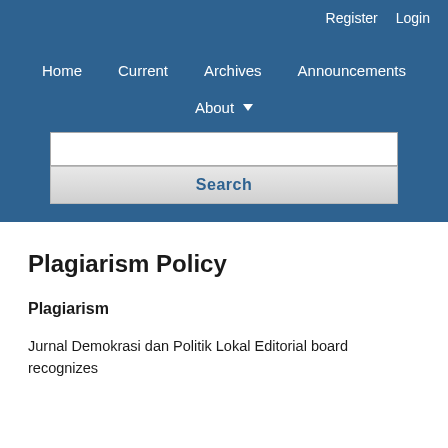Register   Login
Home   Current   Archives   Announcements   About
Search
Plagiarism Policy
Plagiarism
Jurnal Demokrasi dan Politik Lokal Editorial board recognizes